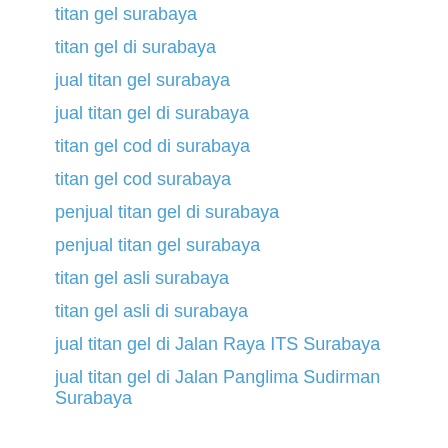titan gel surabaya
titan gel di surabaya
jual titan gel surabaya
jual titan gel di surabaya
titan gel cod di surabaya
titan gel cod surabaya
penjual titan gel di surabaya
penjual titan gel surabaya
titan gel asli surabaya
titan gel asli di surabaya
jual titan gel di Jalan Raya ITS Surabaya
jual titan gel di Jalan Panglima Sudirman Surabaya